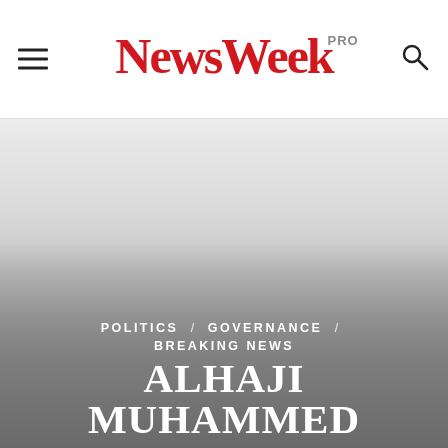NewsWeek PRO
[Figure (photo): Large hero image area with gradient overlay, light gray background transitioning to darker gray]
POLITICS / GOVERNANCE / BREAKING NEWS
ALHAJI MUHAMMED